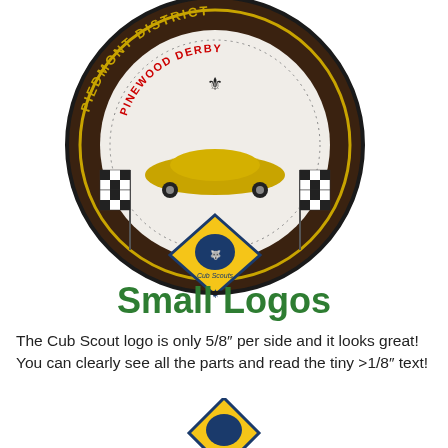[Figure (logo): Piedmont District Pinewood Derby embroidered patch featuring a circular dark brown border with gold text 'PIEDMONT DISTRICT' around the top and 'PINEWOOD DERBY' in red in the inner ring. The patch shows a gold pinewood derby car on a checkered flag background, with a Cub Scouts diamond-shaped logo at the bottom center.]
Small Logos
The Cub Scout logo is only 5/8″ per side and it looks great! You can clearly see all the parts and read the tiny >1/8″ text!
[Figure (logo): Partial view of another Cub Scouts diamond-shaped patch logo visible at the bottom of the page, showing yellow/gold diamond shape with scout emblem.]